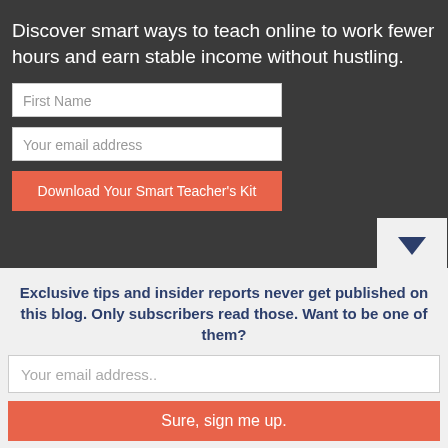Discover smart ways to teach online to work fewer hours and earn stable income without hustling.
[Figure (screenshot): Web form with First Name input, Your email address input, and Download Your Smart Teacher's Kit button on dark background]
Exclusive tips and insider reports never get published on this blog. Only subscribers read those. Want to be one of them?
[Figure (screenshot): Email subscription form with Your email address.. input and Sure, sign me up. button on light grey background]